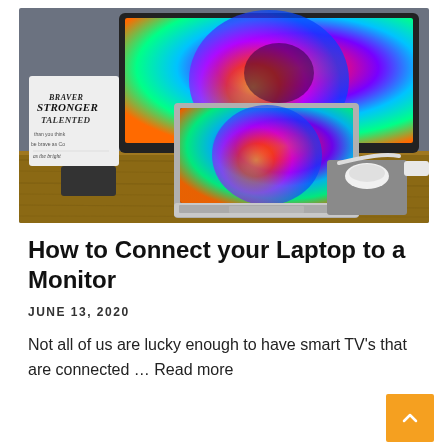[Figure (photo): A laptop connected to a large curved ultrawide monitor on a wooden desk. The monitors display colorful swirling abstract wallpapers. On the desk there is a pen holder with blue pens, a small decorative sign reading 'Braver Stronger Talented', a mouse pad with a white Apple Magic Mouse, and cables.]
How to Connect your Laptop to a Monitor
JUNE 13, 2020
Not all of us are lucky enough to have smart TV's that are connected … Read more